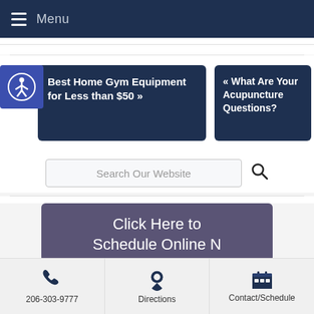Menu
[Figure (screenshot): Accessibility icon with person in circle on blue background]
Best Home Gym Equipment for Less than $50 »
« What Are Your Acupuncture Questions?
Search Our Website
Click Here to Schedule Online Now
206-303-9777
Directions
Contact/Schedule